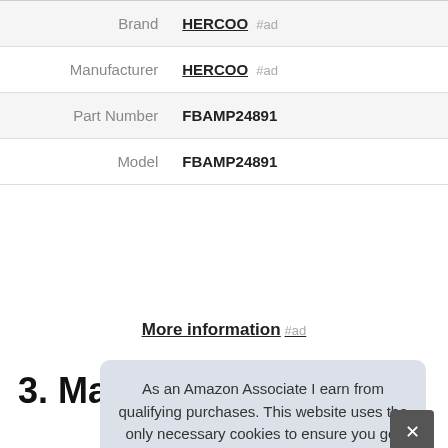| Label | Value |
| --- | --- |
| Brand | HERCOO #ad |
| Manufacturer | HERCOO #ad |
| Part Number | FBAMP24891 |
| Model | FBAMP24891 |
More information #ad
3. Marsauto
As an Amazon Associate I earn from qualifying purchases. This website uses the only necessary cookies to ensure you get the best experience on our website. More information